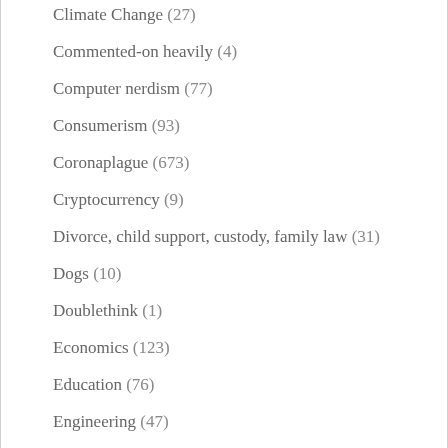Climate Change (27)
Commented-on heavily (4)
Computer nerdism (77)
Consumerism (93)
Coronaplague (673)
Cryptocurrency (9)
Divorce, child support, custody, family law (31)
Dogs (10)
Doublethink (1)
Economics (123)
Education (76)
Engineering (47)
Environment (6)